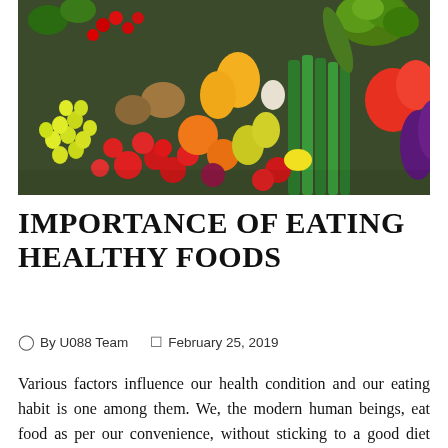[Figure (photo): Colorful assortment of fresh fruits and vegetables including grapes, tomatoes, broccoli, peppers, eggplant, green beans, pears, and other produce arranged together]
IMPORTANCE OF EATING HEALTHY FOODS
By U088 Team   February 25, 2019
Various factors influence our health condition and our eating habit is one among them. We, the modern human beings, eat food as per our convenience, without sticking to a good diet plan or any dining schedule. Life has